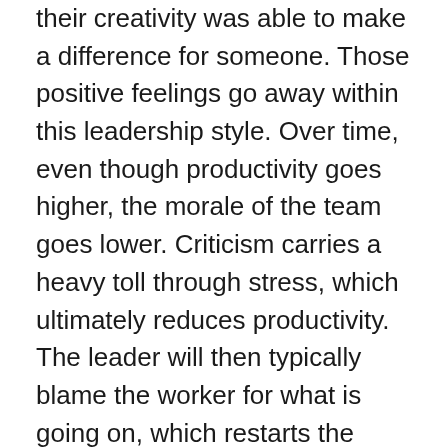their creativity was able to make a difference for someone. Those positive feelings go away within this leadership style. Over time, even though productivity goes higher, the morale of the team goes lower. Criticism carries a heavy toll through stress, which ultimately reduces productivity. The leader will then typically blame the worker for what is going on, which restarts the cycle.
3. This leadership style is dependent upon the skills of the leader.
If a dictatorial leader is well-versed in the best practices of a workplace or industry, then this structure can be beneficial to